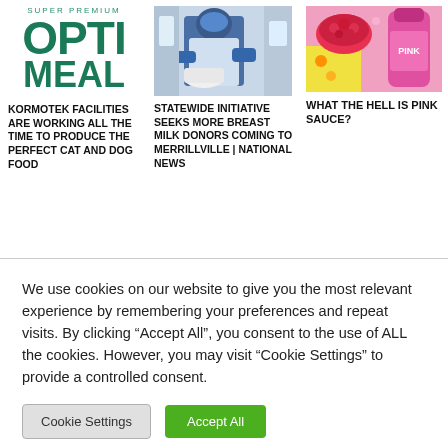[Figure (logo): OptiMeal Super Premium pet food logo in green]
KORMOTEK FACILITIES ARE WORKING ALL THE TIME TO PRODUCE THE PERFECT CAT AND DOG FOOD
[Figure (photo): Person in lab coat and hair net working in a food production facility]
STATEWIDE INITIATIVE SEEKS MORE BREAST MILK DONORS COMING TO MERRILLVILLE | NATIONAL NEWS
[Figure (photo): Pink sauce product with colorful ingredients on pink background]
WHAT THE HELL IS PINK SAUCE?
We use cookies on our website to give you the most relevant experience by remembering your preferences and repeat visits. By clicking “Accept All”, you consent to the use of ALL the cookies. However, you may visit "Cookie Settings" to provide a controlled consent.